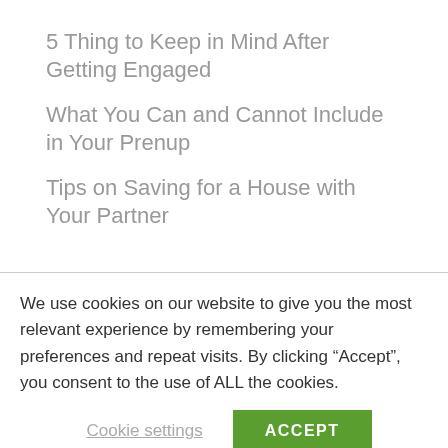5 Thing to Keep in Mind After Getting Engaged
What You Can and Cannot Include in Your Prenup
Tips on Saving for a House with Your Partner
We use cookies on our website to give you the most relevant experience by remembering your preferences and repeat visits. By clicking “Accept”, you consent to the use of ALL the cookies.
Cookie settings
ACCEPT